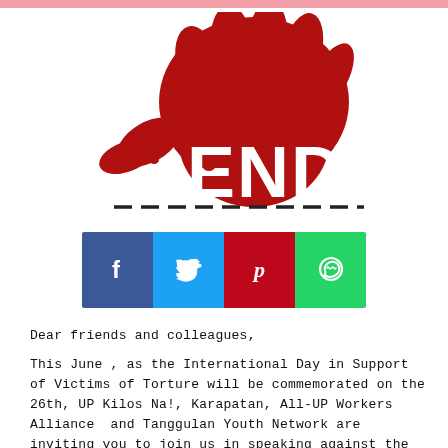[Figure (logo): Red bloody handprint graphic over the word END in bold white letters, with dashed line below — anti-torture campaign logo]
[Figure (infographic): Social media share buttons: Facebook (blue), Twitter (light blue), Pinterest (red), WhatsApp (green)]
Dear friends and colleagues,
This June , as the International Day in Support of Victims of Torture will be commemorated on the 26th, UP Kilos Na!, Karapatan, All-UP Workers Alliance  and Tanggulan Youth Network are inviting you to join us in speaking against the unspeakable, to stand against torture and all forms of human rights violations.